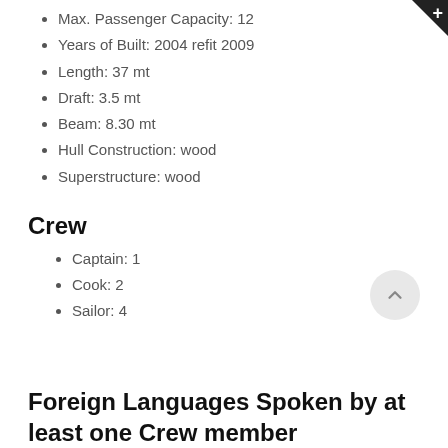Max. Passenger Capacity:  12
Years of Built:  2004 refit 2009
Length:  37 mt
Draft:  3.5 mt
Beam:  8.30 mt
Hull Construction:  wood
Superstructure:  wood
Crew
Captain:  1
Cook:  2
Sailor:  4
Foreign Languages Spoken by at least one Crew member